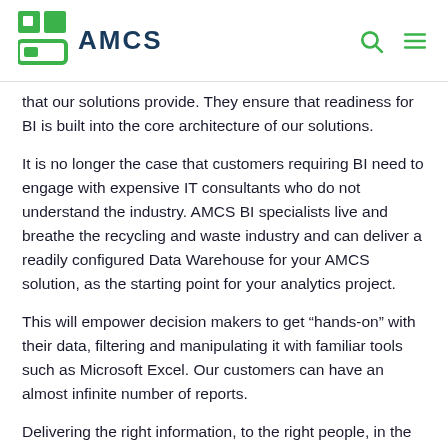AMCS
that our solutions provide. They ensure that readiness for BI is built into the core architecture of our solutions.
It is no longer the case that customers requiring BI need to engage with expensive IT consultants who do not understand the industry. AMCS BI specialists live and breathe the recycling and waste industry and can deliver a readily configured Data Warehouse for your AMCS solution, as the starting point for your analytics project.
This will empower decision makers to get “hands-on” with their data, filtering and manipulating it with familiar tools such as Microsoft Excel. Our customers can have an almost infinite number of reports.
Delivering the right information, to the right people, in the right format at the right time.